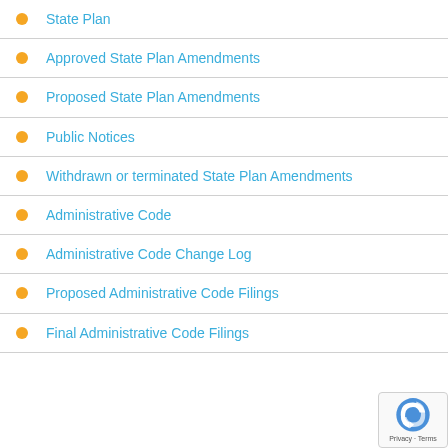State Plan
Approved State Plan Amendments
Proposed State Plan Amendments
Public Notices
Withdrawn or terminated State Plan Amendments
Administrative Code
Administrative Code Change Log
Proposed Administrative Code Filings
Final Administrative Code Filings